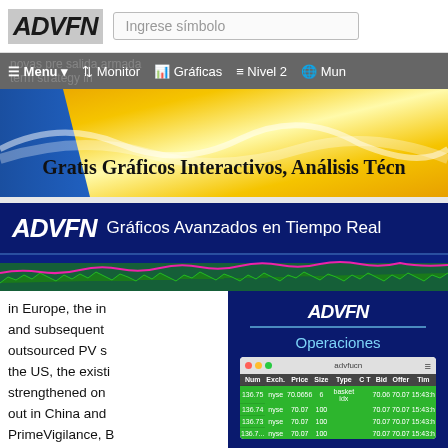[Figure (screenshot): ADVFN website header with logo and search bar showing 'Ingrese símbolo', navigation bar with Menu, Monitor, Gráficas, Nivel 2, Mun options]
[Figure (screenshot): Banner advertisement: Gratis Gráficos Interactivos, Análisis Técn... with blue and gold gradient background]
[Figure (screenshot): ADVFN blue banner: ADVFN Gráficos Avanzados en Tiempo Real with mini stock chart below]
in Europe, the in and subsequent outsourced PV s the US, the existi strengthened on out in China and PrimeVigilance, B
[Figure (screenshot): ADVFN Operaciones panel showing a trading table with columns Num, Exch., Price, Size, Type, C, T, Bid, Offer, Tim and rows with data like 136.75 nyse 70.0656 basket idx 70.06 70.07 15:43, 136.74 nyse 70.07 100 70.07 70.07 15:43, 136.73 nyse 70.07 100 70.07 70.07 15:43]